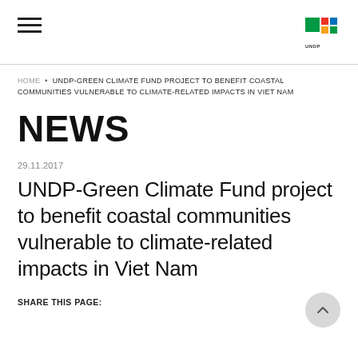hamburger menu | UNDP logo
HOME • UNDP-GREEN CLIMATE FUND PROJECT TO BENEFIT COASTAL COMMUNITIES VULNERABLE TO CLIMATE-RELATED IMPACTS IN VIET NAM
NEWS
29.11.2017
UNDP-Green Climate Fund project to benefit coastal communities vulnerable to climate-related impacts in Viet Nam
SHARE THIS PAGE: